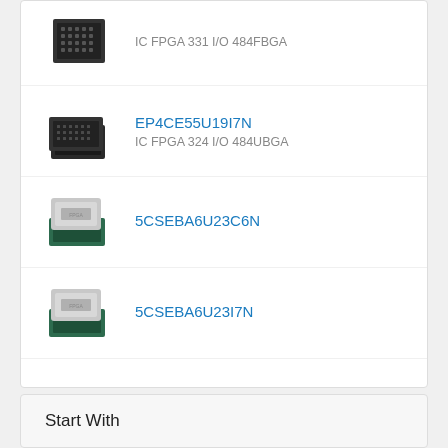IC FPGA 331 I/O 484FBGA
EP4CE55U19I7N
IC FPGA 324 I/O 484UBGA
5CSEBA6U23C6N
5CSEBA6U23I7N
EP3C40F484I7N
IC FPGA 331 I/O 484FBGA
EP3C40F484C6N
IC FPGA 331 I/O 484FBGA
Start With